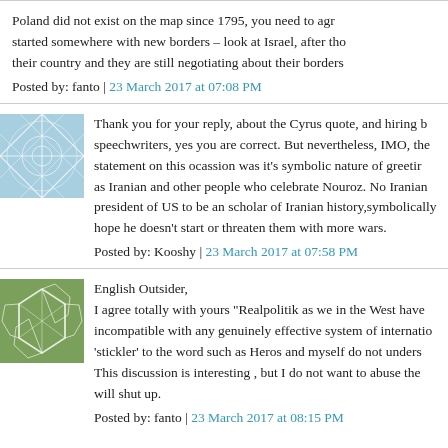Poland did not exist on the map since 1795, you need to agree started somewhere with new borders – look at Israel, after the their country and they are still negotiating about their borders
Posted by: fanto | 23 March 2017 at 07:08 PM
Thank you for your reply, about the Cyrus quote, and hiring b speechwriters, yes you are correct. But nevertheless, IMO, the statement on this ocassion was it's symbolic nature of greetir as Iranian and other people who celebrate Nouroz. No Iraniar president of US to be an scholar of Iranian history,symbolically hope he doesn't start or threaten them with more wars.
Posted by: Kooshy | 23 March 2017 at 07:58 PM
English Outsider,
I agree totally with yours "Realpolitik as we in the West have incompatible with any genuinely effective system of internatio 'stickler' to the word such as Heros and myself do not unders This discussion is interesting , but I do not want to abuse the will shut up.
Posted by: fanto | 23 March 2017 at 08:15 PM